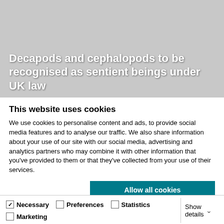[Figure (photo): Gray hero image with bold white text overlay showing article headline about decapods and cephalopods]
Decapods and cephalopods to be recognised as sentient beings under UK law
This website uses cookies
We use cookies to personalise content and ads, to provide social media features and to analyse our traffic. We also share information about your use of our site with our social media, advertising and analytics partners who may combine it with other information that you've provided to them or that they've collected from your use of their services.
Allow all cookies
Allow selection
Use necessary cookies only
Necessary  Preferences  Statistics  Marketing  Show details